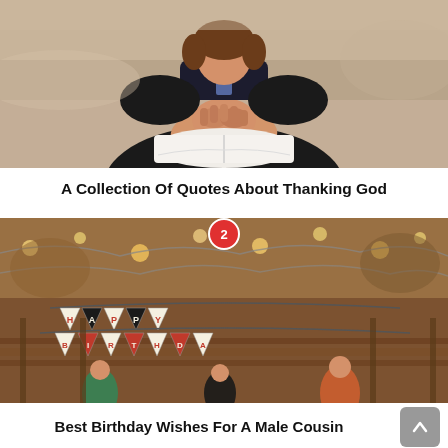[Figure (photo): Person sitting outdoors with hands clasped over an open book/Bible, wearing dark clothing, blurred sandy background]
A Collection Of Quotes About Thanking God
[Figure (photo): Outdoor birthday party scene on a wooden deck with string lights and a HAPPY BIRTHDAY banner, children visible, autumn setting. Badge with number 2 overlaid.]
Best Birthday Wishes For A Male Cousin